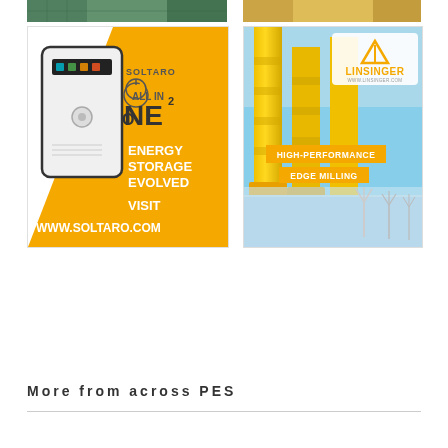[Figure (photo): Top strip: green/nature image on left, golden/warm image on right]
[Figure (illustration): Soltaro ONE² energy storage advertisement with white battery unit device, orange gradient background. Text: SOLTARO, ONE², ALL IN, ENERGY STORAGE EVOLVED, VISIT WWW.SOLTARO.COM]
[Figure (photo): Linsinger advertisement showing yellow industrial pillars/offshore structures with wind turbines in background. Logo: LINSINGER www.linsinger.com with triangle icon. Badges: HIGH-PERFORMANCE, EDGE MILLING]
More from across PES